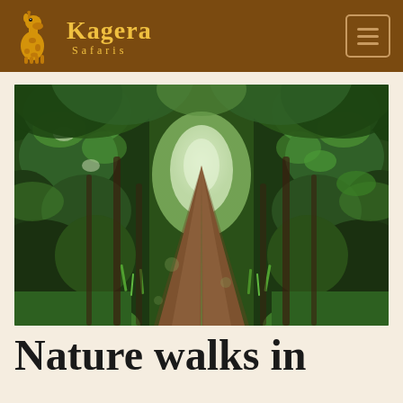Kagera Safaris
[Figure (photo): A dirt trail winding through dense green tropical forest, with lush vegetation on both sides forming a canopy tunnel, photographed from ground level looking ahead into the forest.]
Nature walks in